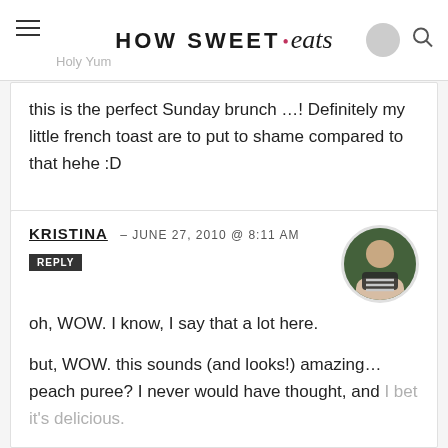HOW SWEET eats
this is the perfect Sunday brunch …! Definitely my little french toast are to put to shame compared to that hehe :D
KRISTINA – JUNE 27, 2010 @ 8:11 AM
REPLY
oh, WOW. I know, I say that a lot here.
but, WOW. this sounds (and looks!) amazing… peach puree? I never would have thought, and I bet it's delicious.